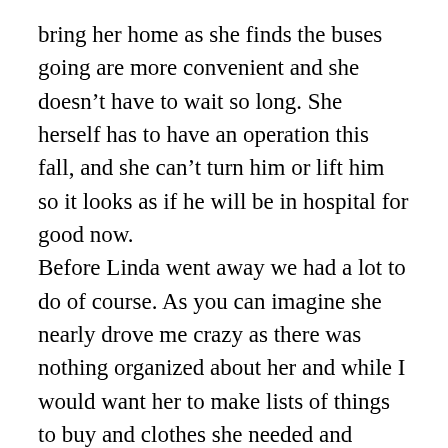bring her home as she finds the buses going are more convenient and she doesn't have to wait so long. She herself has to have an operation this fall, and she can't turn him or lift him so it looks as if he will be in hospital for good now. Before Linda went away we had a lot to do of course. As you can imagine she nearly drove me crazy as there was nothing organized about her and while I would want her to make lists of things to buy and clothes she needed and things to do and sort out her old clothes and tidy her drawers etc. she would be off visiting her friends or reading or something. Finally I realized that the more I fussed the less she did and the more agitated I became, so I just